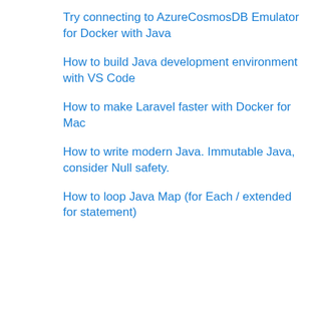Try connecting to AzureCosmosDB Emulator for Docker with Java
How to build Java development environment with VS Code
How to make Laravel faster with Docker for Mac
How to write modern Java. Immutable Java, consider Null safety.
How to loop Java Map (for Each / extended for statement)